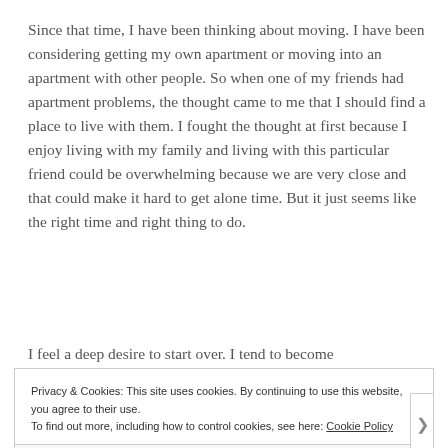Since that time, I have been thinking about moving. I have been considering getting my own apartment or moving into an apartment with other people. So when one of my friends had apartment problems, the thought came to me that I should find a place to live with them. I fought the thought at first because I enjoy living with my family and living with this particular friend could be overwhelming because we are very close and that could make it hard to get alone time. But it just seems like the right time and right thing to do.
I feel a deep desire to start over. I tend to become
Privacy & Cookies: This site uses cookies. By continuing to use this website, you agree to their use.
To find out more, including how to control cookies, see here: Cookie Policy
Close and accept